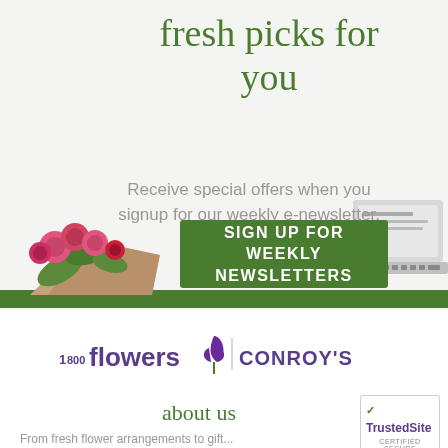fresh picks for you
Receive special offers when you signup for our weekly e-newsletter.
[Figure (illustration): Green CTA button with white bold text reading SIGN UP FOR WEEKLY NEWSLETTERS, with flower bouquet image on left and laptop on right]
[Figure (logo): 1-800-flowers logo with purple tulip icon and CONROY'S brand name separated by a vertical line]
about us
[Figure (logo): TrustedSite CERTIFIED SECURE badge with green checkmark]